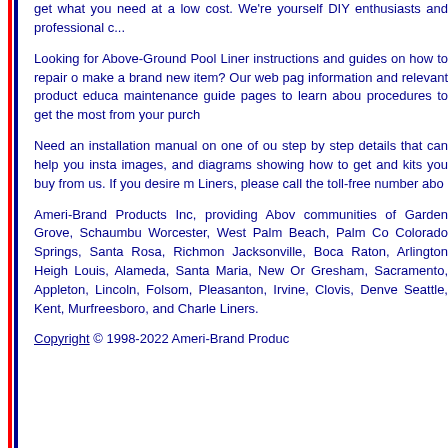get what you need at a low cost. We're yourself DIY enthusiasts and professional c...
Looking for Above-Ground Pool Liner instructions and guides on how to repair o make a brand new item? Our web pag information and relevant product educa maintenance guide pages to learn abou procedures to get the most from your purch
Need an installation manual on one of ou step by step details that can help you insta images, and diagrams showing how to get and kits you buy from us. If you desire m Liners, please call the toll-free number abo
Ameri-Brand Products Inc, providing Abov communities of Garden Grove, Schaumbu Worcester, West Palm Beach, Palm Co Colorado Springs, Santa Rosa, Richmon Jacksonville, Boca Raton, Arlington Heigh Louis, Alameda, Santa Maria, New Or Gresham, Sacramento, Appleton, Lincoln, Folsom, Pleasanton, Irvine, Clovis, Denve Seattle, Kent, Murfreesboro, and Charle Liners.
Copyright © 1998-2022 Ameri-Brand Produc